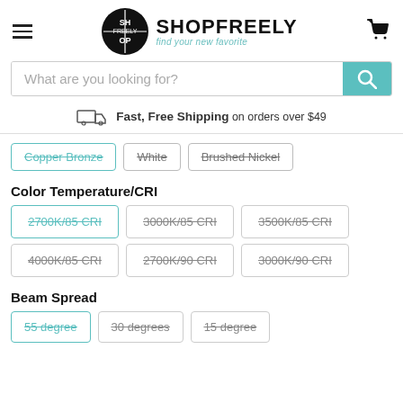SHOPFREELY find your new favorite
What are you looking for?
Fast, Free Shipping on orders over $49
Copper Bronze
White
Brushed Nickel
Color Temperature/CRI
2700K/85 CRI
3000K/85 CRI
3500K/85 CRI
4000K/85 CRI
2700K/90 CRI
3000K/90 CRI
Beam Spread
55 degree
30 degrees
15 degree